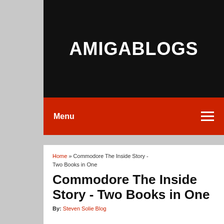AMIGABLOGS
Menu
Home » Commodore The Inside Story - Two Books in One
Commodore The Inside Story - Two Books in One
By: Steven Solie Blog